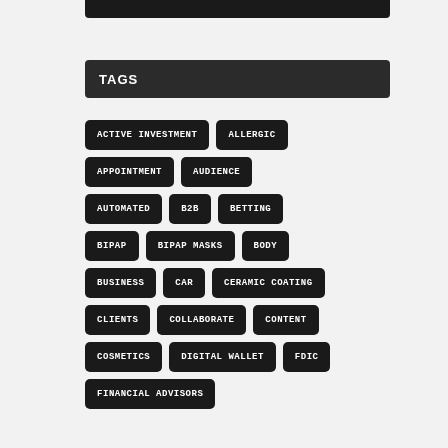TAGS
ACTIVE INVESTMENT
ALLERGIC
APPOINTMENT
AUDIENCE
AUTOMATED
B2B
BETTING
BIPAP
BIPAP MASKS
BODY
BUSINESS
CAR
CERAMIC COATING
CLIENTS
COLLABORATE
CONTENT
COSMETICS
DIGITAL WALLET
FDIC
FINANCIAL ADVISORS